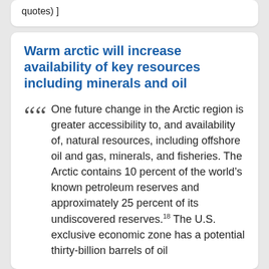quotes) ]
Warm arctic will increase availability of key resources including minerals and oil
One future change in the Arctic region is greater accessibility to, and availability of, natural resources, including offshore oil and gas, minerals, and fisheries. The Arctic contains 10 percent of the world’s known petroleum reserves and approximately 25 percent of its undiscovered reserves.²18 The U.S. exclusive economic zone has a potential thirty-billion barrels of oil